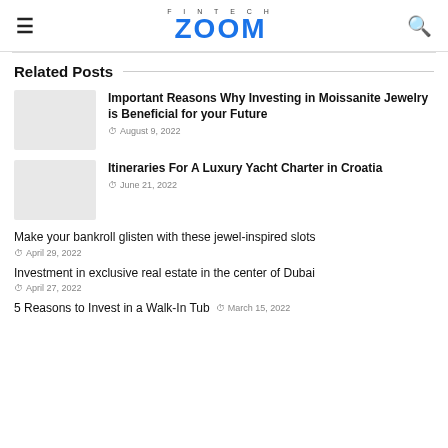FINTECH ZOOM
Related Posts
Important Reasons Why Investing in Moissanite Jewelry is Beneficial for your Future
August 9, 2022
Itineraries For A Luxury Yacht Charter in Croatia
June 21, 2022
Make your bankroll glisten with these jewel-inspired slots
April 29, 2022
Investment in exclusive real estate in the center of Dubai
April 27, 2022
5 Reasons to Invest in a Walk-In Tub
March 15, 2022